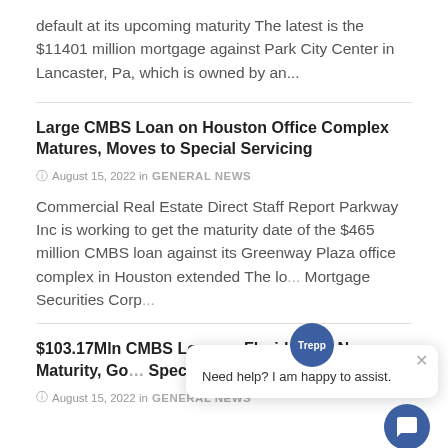default at its upcoming maturity The latest is the $11401 million mortgage against Park City Center in Lancaster, Pa, which is owned by an...
Large CMBS Loan on Houston Office Complex Matures, Moves to Special Servicing
August 15, 2022 in GENERAL NEWS
Commercial Real Estate Direct Staff Report Parkway Inc is working to get the maturity date of the $465 million CMBS loan against its Greenway Plaza office complex in Houston extended The lo... Mortgage Securities Corp...
$103.17Mln CMBS Loan on Florida Mall Nears Maturity, Go... Special Servicing
August 15, 2022 in GENERAL NEWS